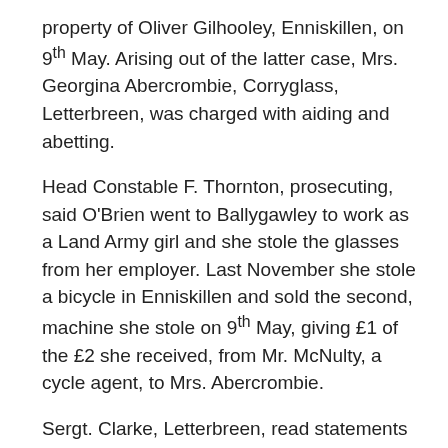property of Oliver Gilhooley, Enniskillen, on 9th May. Arising out of the latter case, Mrs.  Georgina Abercrombie, Corryglass, Letterbreen, was charged with aiding and abetting.
Head Constable F. Thornton, prosecuting, said O'Brien went to Ballygawley to work as a Land Army girl and she stole the glasses from her employer. Last November she stole a bicycle in Enniskillen and sold the second, machine she stole on 9th May, giving £1 of the £2 she received, from Mr. McNulty, a cycle agent, to Mrs. Abercrombie.
Sergt. Clarke, Letterbreen, read statements alleged to have been made by the defendants, admitting the offences with which they were now charged.
He told the R.M. that his own opinion was that O'Brien,